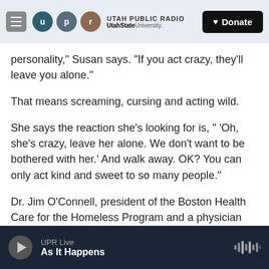UTAH PUBLIC RADIO — UtahState University — Donate
personality," Susan says. "If you act crazy, they'll leave you alone."
That means screaming, cursing and acting wild.
She says the reaction she's looking for is, " 'Oh, she's crazy, leave her alone. We don't want to be bothered with her.' And walk away. OK? You can only act kind and sweet to so many people."
Dr. Jim O'Connell, president of the Boston Health Care for the Homeless Program and a physician who has been caring for the homeless population
UPR Live — As It Happens